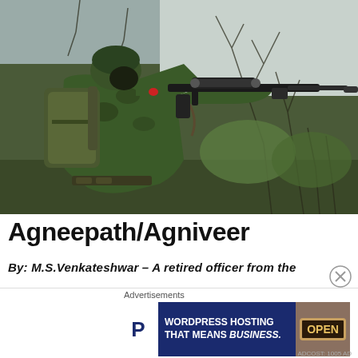[Figure (photo): Soldier in camouflage uniform and helmet aiming a scoped assault rifle in a woodland setting with bare trees and brush in the background.]
Agneepath/Agniveer
By: M.S.Venkateshwar – A retired officer from the
[Figure (other): Advertisement: WordPress Hosting That Means Business. Shows a P parking-style icon on blue background and an OPEN sign image.]